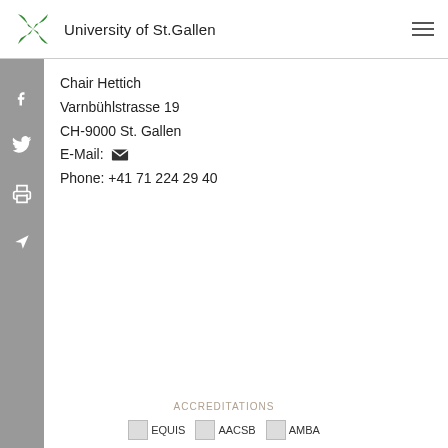University of St.Gallen
Chair Hettich
Varnbühlstrasse 19
CH-9000 St. Gallen
E-Mail: [icon]
Phone: +41 71 224 29 40
ACCREDITATIONS
EQUIS AACSB AMBA